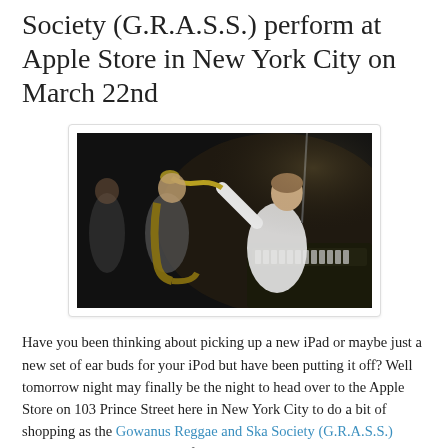Society (G.R.A.S.S.) perform at Apple Store in New York City on March 22nd
[Figure (photo): Band performing on stage in a dark venue; a man plays trumpet in the foreground wearing a white shirt, another musician plays saxophone in the background, with keyboards and equipment visible.]
Have you been thinking about picking up a new iPad or maybe just a new set of ear buds for your iPod but have been putting it off? Well tomorrow night may finally be the night to head over to the Apple Store on 103 Prince Street here in New York City to do a bit of shopping as the Gowanus Reggae and Ska Society (G.R.A.S.S.) celebrate the recent release of their album 'G.R.A.S. S. on Fire' with a special 'iTunes Presents' in-store performance.
With the release of 'G.R.A.S.S. On Fire', this collection of